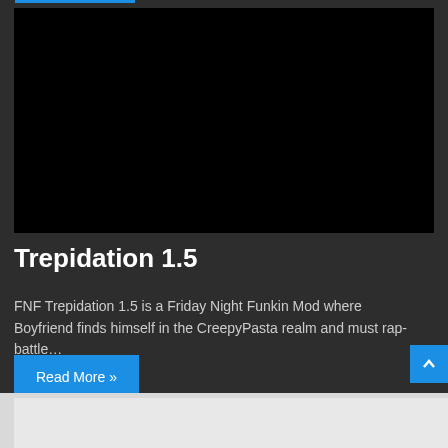[Figure (other): Black video/image placeholder rectangle]
Trepidation 1.5
FNF Trepidation 1.5 is a Friday Night Funkin Mod where Boyfriend finds himself in the CreepyPasta realm and must rap-battle…
Read More »